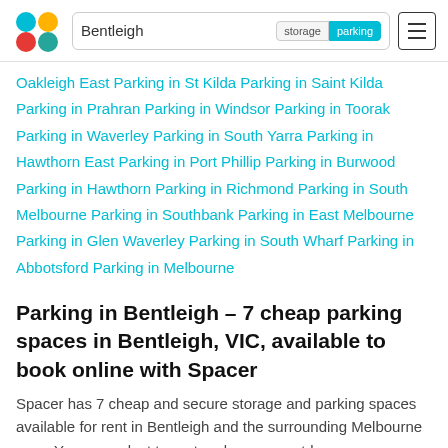Bentleigh | storage | parking
Oakleigh East  Parking in St Kilda  Parking in Saint Kilda  Parking in Prahran  Parking in Windsor  Parking in Toorak  Parking in Waverley  Parking in South Yarra  Parking in Hawthorn East  Parking in Port Phillip  Parking in Burwood  Parking in Hawthorn  Parking in Richmond  Parking in South Melbourne  Parking in Southbank  Parking in East Melbourne  Parking in Glen Waverley  Parking in South Wharf  Parking in Abbotsford  Parking in Melbourne
Parking in Bentleigh - 7 cheap parking spaces in Bentleigh, VIC, available to book online with Spacer
Spacer has 7 cheap and secure storage and parking spaces available for rent in Bentleigh and the surrounding Melbourne area. You can select to rent undercover, outdoor, garage or warehouse